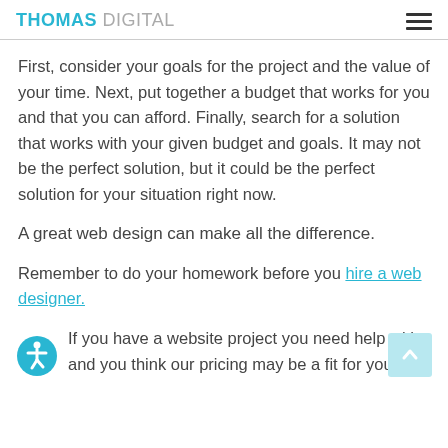THOMAS DIGITAL
First, consider your goals for the project and the value of your time. Next, put together a budget that works for you and that you can afford. Finally, search for a solution that works with your given budget and goals. It may not be the perfect solution, but it could be the perfect solution for your situation right now.
A great web design can make all the difference.
Remember to do your homework before you hire a web designer.
If you have a website project you need help with and you think our pricing may be a fit for you